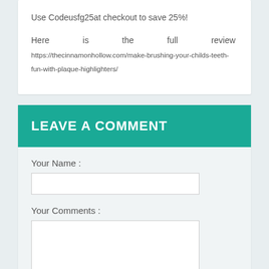Use Codeusfg25at checkout to save 25%!
Here is the full review https://thecinnamonhollow.com/make-brushing-your-childs-teeth-fun-with-plaque-highlighters/
LEAVE A COMMENT
Your Name :
Your Comments :